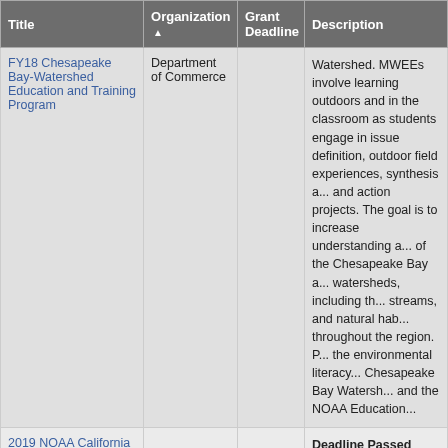| Title | Organization ▲ | Grant Deadline | Description |
| --- | --- | --- | --- |
| FY18 Chesapeake Bay-Watershed Education and Training Program | Department of Commerce |  | Watershed. MWEEs involve learning outdoors and in the classroom as students engage in issue definition, outdoor field experiences, synthesis and conclusions, and action projects. The goal is to increase understanding and stewardship of the Chesapeake Bay and its watersheds, including the lands, streams, and natural habitats found throughout the region. Projects address the environmental literacy goals of the Chesapeake Bay Watershed agreement and the NOAA Education... |
| 2019 NOAA California Bay |  |  | Deadline Passed 04/05/... Unknown for 2020. California funds locally relevant, authentic, experiential learning for K-12 students through Meaningful Watershed Educational Experiences (MWEEs). MWEEs involve learning outdoors and in the classroom as students engage in issue definition, outd... |